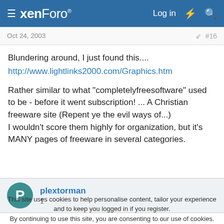xenForo — Log in
Oct 24, 2003  #16
Blundering around, I just found this....
http://www.lightlinks2000.com/Graphics.htm

Rather similar to what "completelyfreesoftware" used to be - before it went subscription! ... A Christian freeware site (Repent ye the evil ways of...)
I wouldn't score them highly for organization, but it's MANY pages of freeware in several categories.
plextorman
1
This site uses cookies to help personalise content, tailor your experience and to keep you logged in if you register.
By continuing to use this site, you are consenting to our use of cookies.
Accept  Learn more...